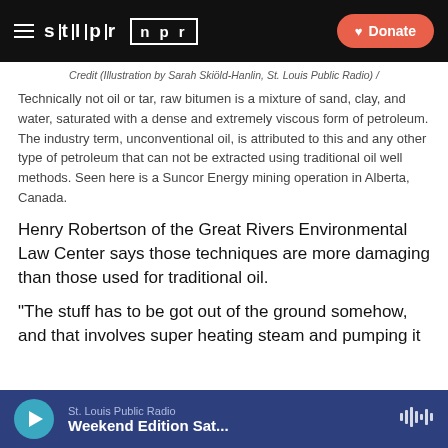stlpr / npr | Donate
Credit (Illustration by Sarah Skiöld-Hanlin, St. Louis Public Radio) /
Technically not oil or tar, raw bitumen is a mixture of sand, clay, and water, saturated with a dense and extremely viscous form of petroleum. The industry term, unconventional oil, is attributed to this and any other type of petroleum that can not be extracted using traditional oil well methods. Seen here is a Suncor Energy mining operation in Alberta, Canada.
Henry Robertson of the Great Rivers Environmental Law Center says those techniques are more damaging than those used for traditional oil.
“The stuff has to be got out of the ground somehow, and that involves super heating steam and pumping it
St. Louis Public Radio | Weekend Edition Sat...